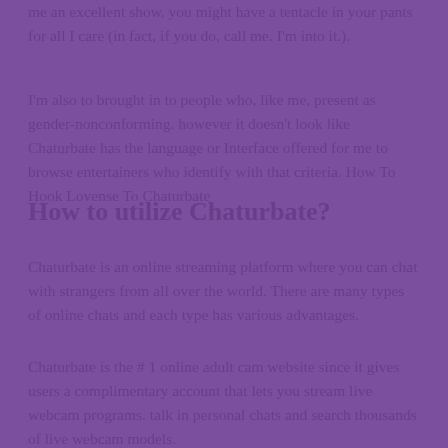me an excellent show. you might have a tentacle in your pants for all I care (in fact, if you do, call me. I'm into it.).
I'm also to brought in to people who, like me, present as gender-nonconforming. however it doesn't look like Chaturbate has the language or Interface offered for me to browse entertainers who identify with that criteria. How To Hook Lovense To Chaturbate
How to utilize Chaturbate?
Chaturbate is an online streaming platform where you can chat with strangers from all over the world. There are many types of online chats and each type has various advantages.
Chaturbate is the # 1 online adult cam website since it gives users a complimentary account that lets you stream live webcam programs. talk in personal chats and search thousands of live webcam models.